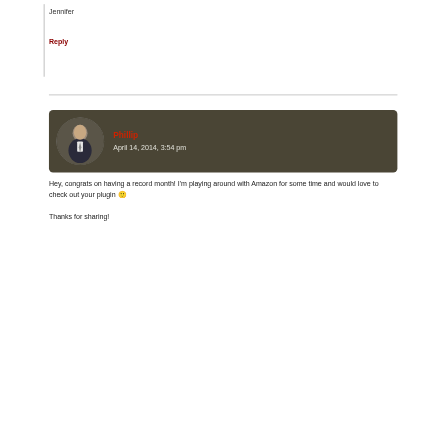Jennifer
Reply
[Figure (photo): User comment card with dark olive/brown background showing avatar photo of a man in a suit and the commenter name 'Phillip' in red with date 'April 14, 2014, 3:54 pm' in light text]
Hey, congrats on having a record month! I'm playing around with Amazon for some time and would love to check out your plugin 🙂
Thanks for sharing!